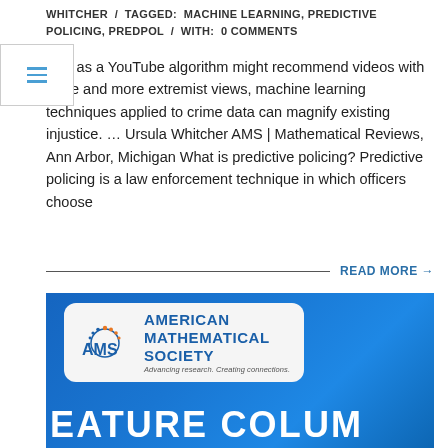WHITCHER / TAGGED: MACHINE LEARNING, PREDICTIVE POLICING, PREDPOL / WITH: 0 COMMENTS
Just as a YouTube algorithm might recommend videos with more and more extremist views, machine learning techniques applied to crime data can magnify existing injustice. … Ursula Whitcher AMS | Mathematical Reviews, Ann Arbor, Michigan What is predictive policing? Predictive policing is a law enforcement technique in which officers choose
READ MORE →
[Figure (logo): American Mathematical Society (AMS) logo on a blue background with white text reading FEATURE COLUMN at the bottom]